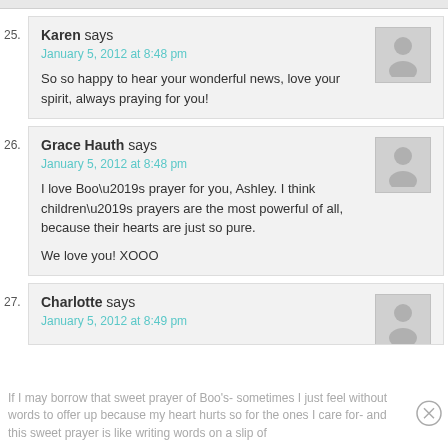Karen says
January 5, 2012 at 8:48 pm
So so happy to hear your wonderful news, love your spirit, always praying for you!
Grace Hauth says
January 5, 2012 at 8:48 pm
I love Boo’s prayer for you, Ashley. I think children’s prayers are the most powerful of all, because their hearts are just so pure.
We love you! XOOO
Charlotte says
January 5, 2012 at 8:49 pm
If I may borrow that sweet prayer of Boo’s- sometimes I just feel without words to offer up because my heart hurts so for the ones I care for- and this sweet prayer is like writing words on a slip of